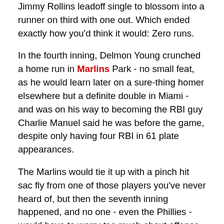Jimmy Rollins leadoff single to blossom into a runner on third with one out. Which ended exactly how you'd think it would: Zero runs.
In the fourth inning, Delmon Young crunched a home run in Marlins Park - no small feat, as he would learn later on a sure-thing homer elsewhere but a definite double in Miami - and was on his way to becoming the RBI guy Charlie Manuel said he was before the game, despite only having four RBI in 61 plate appearances.
The Marlins would tie it up with a pinch hit sac fly from one of those players you've never heard of, but then the seventh inning happened, and no one - even the Phillies - would have to worry too much about offense for the rest of the night.
J-Roll led off with a single, again, and this time, instead